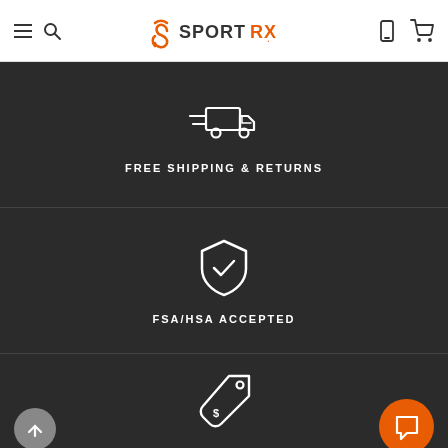SportRx — navigation header with hamburger, search, logo, phone and cart icons
[Figure (illustration): White line icon of a delivery truck with speed lines on dark background]
FREE SHIPPING & RETURNS
[Figure (illustration): White line icon of a shield with a checkmark on dark background]
FSA/HSA ACCEPTED
[Figure (illustration): White line icon of a price tag with dollar sign on dark background]